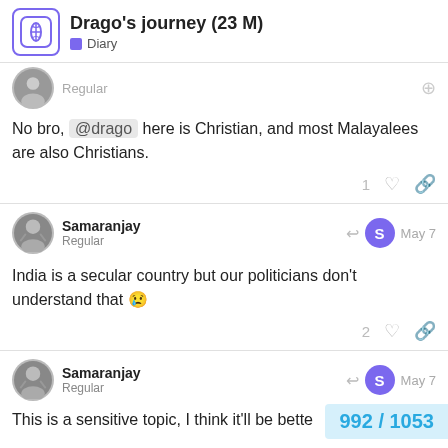Drago's journey (23 M) — Diary
Regular
No bro, @drago here is Christian, and most Malayalees are also Christians.
1 ♡ 🔗
Samaranjay — Regular — May 7
India is a secular country but our politicians don't understand that 😢
2 ♡ 🔗
Samaranjay — Regular — May 7
This is a sensitive topic, I think it'll be bette...
992 / 1053